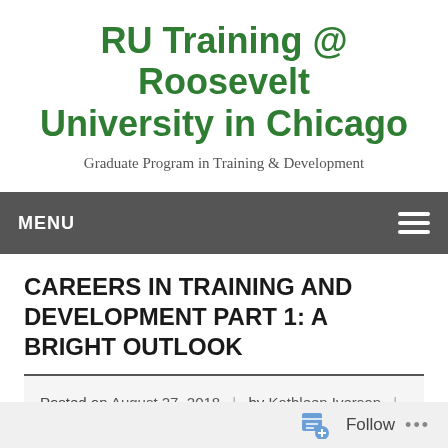RU Training @ Roosevelt University in Chicago
Graduate Program in Training & Development
MENU
CAREERS IN TRAINING AND DEVELOPMENT PART 1: A BRIGHT OUTLOOK
Posted on August 27, 2018 | by Kathleen Iverson | 85 comments